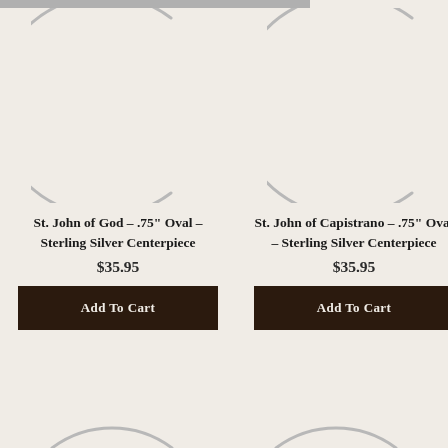[Figure (illustration): Partial circular arc (crescent/ring shape) for product image placeholder, left column]
[Figure (illustration): Partial circular arc (crescent/ring shape) for product image placeholder, right column]
St. John of God – .75" Oval – Sterling Silver Centerpiece
$35.95
Add To Cart
St. John of Capistrano – .75" Oval – Sterling Silver Centerpiece
$35.95
Add To Cart
[Figure (illustration): Partial circular arc bottom left, cut off]
[Figure (illustration): Partial circular arc bottom right, cut off]